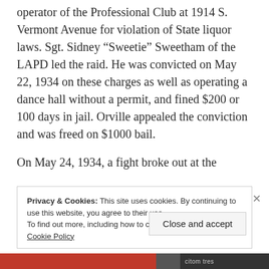operator of the Professional Club at 1914 S. Vermont Avenue for violation of State liquor laws. Sgt. Sidney “Sweetie” Sweetham of the LAPD led the raid. He was convicted on May 22, 1934 on these charges as well as operating a dance hall without a permit, and fined $200 or 100 days in jail. Orville appealed the conviction and was freed on $1000 bail.
On May 24, 1934, a fight broke out at the
Privacy & Cookies: This site uses cookies. By continuing to use this website, you agree to their use.
To find out more, including how to control cookies, see here: Cookie Policy
Close and accept